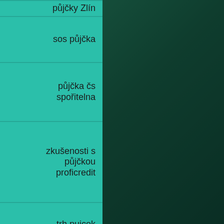půjčky Zlín
sos půjčka
půjčka čs spořitelna
zkušenosti s půjčkou proficredit
trh pujcek
leasing úvěr na auto brno
4th grade essay writing outline